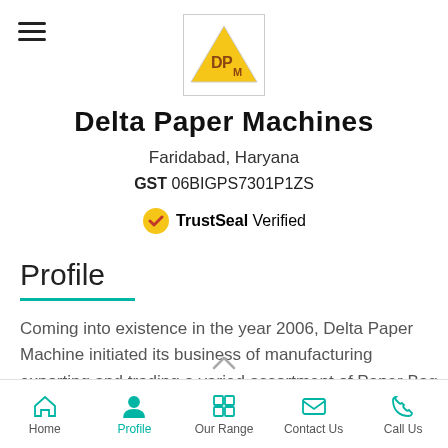[Figure (logo): Delta Paper Machines triangle logo with 'DPM' letters inside a yellow triangle on white background]
Delta Paper Machines
Faridabad, Haryana
GST 06BIGPS7301P1ZS
TrustSeal Verified
Profile
Coming into existence in the year 2006, Delta Paper Machine initiated its business of manufacturing exporting and trading a varied assortment of Paper Bag and Napkin Making Machines. We have been delivering Toilet Roll Making Machine, Rewinding Machine Aluminum Foil
Home   Profile   Our Range   Contact Us   Call Us